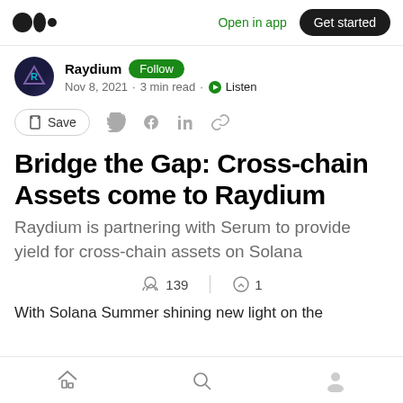Open in app  Get started
Raydium  Follow
Nov 8, 2021 · 3 min read · Listen
Save
Bridge the Gap: Cross-chain Assets come to Raydium
Raydium is partnering with Serum to provide yield for cross-chain assets on Solana
139  1
With Solana Summer shining new light on the
Home  Search  Profile